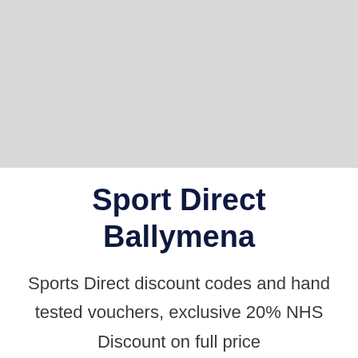[Figure (photo): Light grey rectangular placeholder image occupying the top half of the page]
Sport Direct Ballymena
Sports Direct discount codes and hand tested vouchers, exclusive 20% NHS Discount on full price